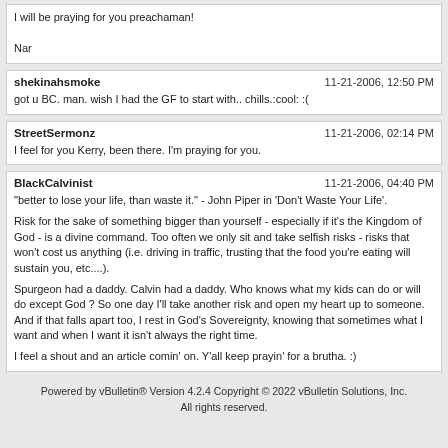I will be praying for you preachaman!

Nar
shekinahsmoke 11-21-2006, 12:50 PM
got u BC. man. wish I had the GF to start with.. chills.:cool: :(
StreetSermonz 11-21-2006, 02:14 PM
I feel for you Kerry, been there. I'm praying for you.
BlackCalvinist 11-21-2006, 04:40 PM
"better to lose your life, than waste it." - John Piper in 'Don't Waste Your Life'.

Risk for the sake of something bigger than yourself - especially if it's the Kingdom of God - is a divine command. Too often we only sit and take selfish risks - risks that won't cost us anything (i.e. driving in traffic, trusting that the food you're eating will sustain you, etc....).

Spurgeon had a daddy. Calvin had a daddy. Who knows what my kids can do or will do except God ? So one day I'll take another risk and open my heart up to someone. And if that falls apart too, I rest in God's Sovereignty, knowing that sometimes what I want and when I want it isn't always the right time.

I feel a shout and an article comin' on. Y'all keep prayin' for a brutha. :)
Powered by vBulletin® Version 4.2.4 Copyright © 2022 vBulletin Solutions, Inc. All rights reserved.